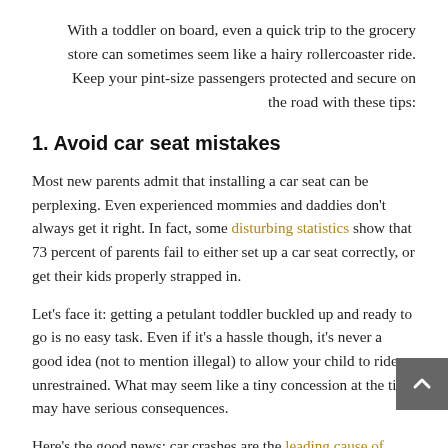With a toddler on board, even a quick trip to the grocery store can sometimes seem like a hairy rollercoaster ride. Keep your pint-size passengers protected and secure on the road with these tips:
1. Avoid car seat mistakes
Most new parents admit that installing a car seat can be perplexing. Even experienced mommies and daddies don't always get it right. In fact, some disturbing statistics show that 73 percent of parents fail to either set up a car seat correctly, or get their kids properly strapped in.
Let's face it: getting a petulant toddler buckled up and ready to go is no easy task. Even if it's a hassle though, it's never a good idea (not to mention illegal) to allow your child to ride unrestrained. What may seem like a tiny concession at the time may have serious consequences.
Here's the good news: car crashes are the leading cause of